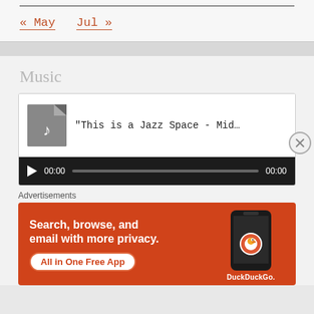« May    Jul »
Music
[Figure (screenshot): Audio player widget showing a music file titled '"This is a Jazz Space - Midni…' with a music document icon, playback controls (play button), time display '00:00' on both sides, and a progress bar on a dark background.]
Advertisements
[Figure (infographic): DuckDuckGo advertisement banner with orange background reading 'Search, browse, and email with more privacy. All in One Free App' with a phone graphic and DuckDuckGo logo.]